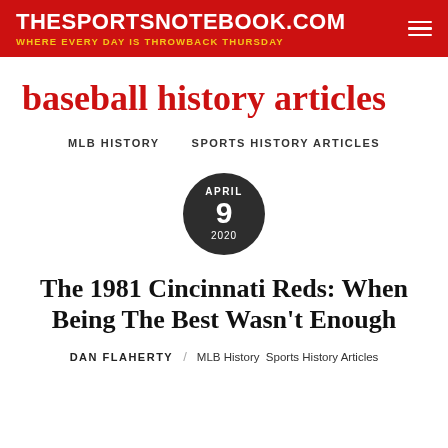THESPORTSNOTEBOOK.COM — WHERE EVERY DAY IS THROWBACK THURSDAY
baseball history articles
MLB HISTORY   SPORTS HISTORY ARTICLES
APRIL 9 2020
The 1981 Cincinnati Reds: When Being The Best Wasn't Enough
DAN FLAHERTY / MLB History Sports History Articles